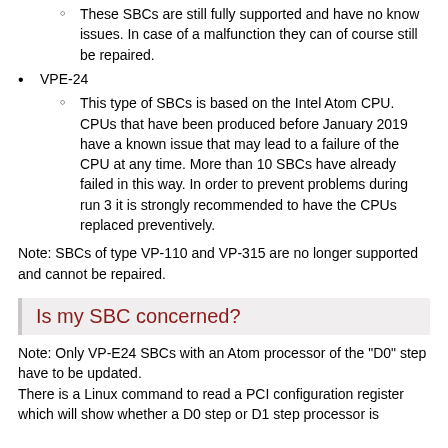These SBCs are still fully supported and have no know issues. In case of a malfunction they can of course still be repaired.
VPE-24
This type of SBCs is based on the Intel Atom CPU. CPUs that have been produced before January 2019 have a known issue that may lead to a failure of the CPU at any time. More than 10 SBCs have already failed in this way. In order to prevent problems during run 3 it is strongly recommended to have the CPUs replaced preventively.
Note: SBCs of type VP-110 and VP-315 are no longer supported and cannot be repaired.
Is my SBC concerned?
Note: Only VP-E24 SBCs with an Atom processor of the "D0" step have to be updated.
There is a Linux command to read a PCI configuration register which will show whether a D0 step or D1 step processor is